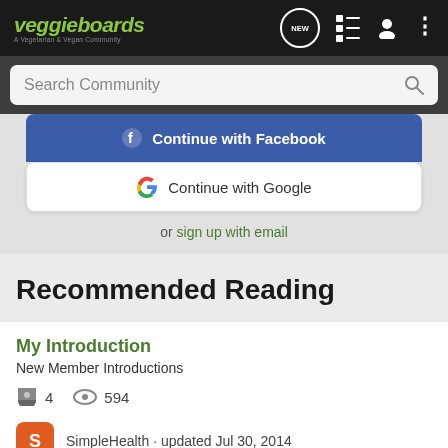veggieboards — A Vegetarian & Vegan Community
Search Community
Continue with Facebook
Continue with Google
or sign up with email
Recommended Reading
My Introduction
New Member Introductions
4   594
SimpleHealth · updated Jul 30, 2014